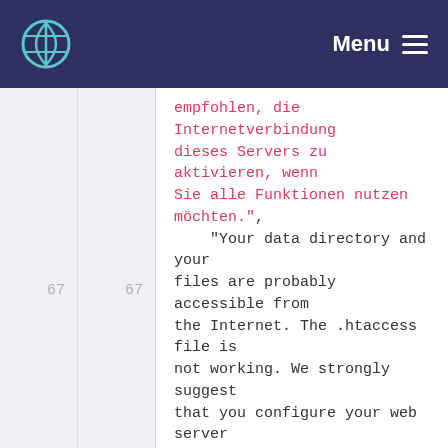Menu
empfohlen, die Internetverbindung dieses Servers zu aktivieren, wenn Sie alle Funktionen nutzen möchten.",
    "Your data directory and your files are probably accessible from the Internet. The .htaccess file is not working. We strongly suggest that you configure your web server in a way that the data directory is no longer accessible or you move the data directory outside the web server document root." : "Ihr Datenverzeichnis und Ihre Dateien sind wahrscheinlich vom Internet aus erreichbar. Die .htaccess-Datei funktioniert nicht. Es wird dringend empfohlen, Ihren Webserver dahingehend zu konfigurieren, dass das Datenverzeichnis nicht mehr vom